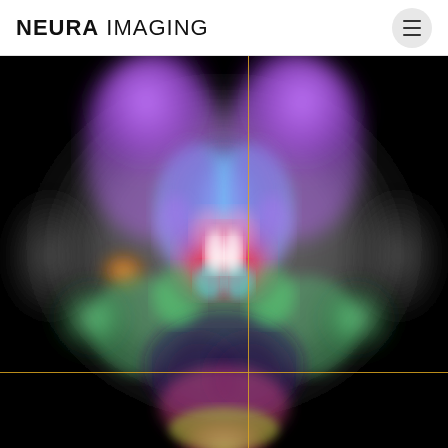NEURA IMAGING
[Figure (other): Coronal view of a brain DTI (diffusion tensor imaging) tractography scan on a black background, showing colorful fiber tracts — purple, blue, green, red, pink, orange, white — radiating symmetrically from the center of the brain. Two yellow crosshair lines (one horizontal, one vertical) are overlaid on the image, dividing the view into quadrants.]